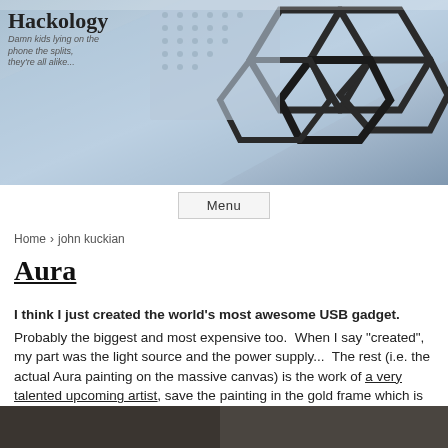[Figure (photo): Header image showing close-up of a geometric hexagonal or honeycomb structure with metallic/glass texture in blue-grey tones]
Hackology
Damn kids lying on the phone the splits, they're all alike...
Menu
Home › john kuckian
Aura
I think I just created the world's most awesome USB gadget. Probably the biggest and most expensive too. When I say "created", my part was the light source and the power supply... The rest (i.e. the actual Aura painting on the massive canvas) is the work of a very talented upcoming artist, save the painting in the gold frame which is a family creation and heirloom.
Oh, the smaller poster on the wall, that's my creation...
[Figure (photo): Partial view of bottom image, dark tones]